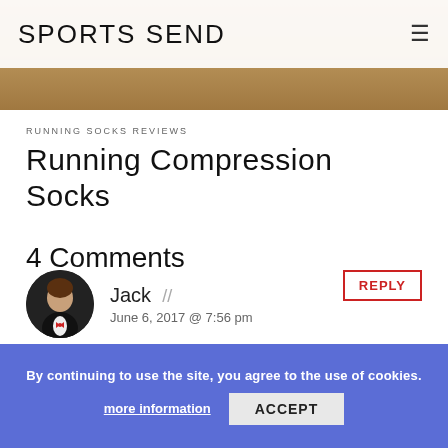SPORTS SEND
[Figure (photo): Hero banner image showing a sandy/earthy textured surface in warm brown tones]
RUNNING SOCKS REVIEWS
Running Compression Socks
4 Comments
Jack // June 6, 2017 @ 7:56 pm
I'm really impressed by these socks. I've been looking for a good pair of running socks to use into these look like they might be the one! I hurt myself quite a bad injury some months ago, and it looks like running with the socks has made a fair bit of difference...
By continuing to use the site, you agree to the use of cookies. more information ACCEPT